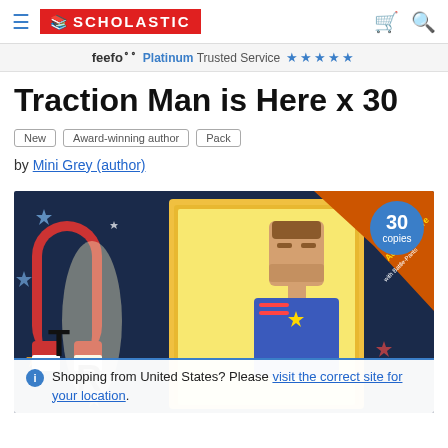Scholastic navigation bar with hamburger menu, Scholastic logo, cart and search icons
feefo Platinum Trusted Service ★★★★★
Traction Man is Here x 30
New
Award-winning author
Pack
by Mini Grey (author)
[Figure (photo): Book cover of Traction Man is Here showing a cartoon superhero action figure character with a horseshoe magnet and stars on a dark background, with an orange diagonal banner. A circular blue badge says '30 copies'.]
Shopping from United States? Please visit the correct site for your location.